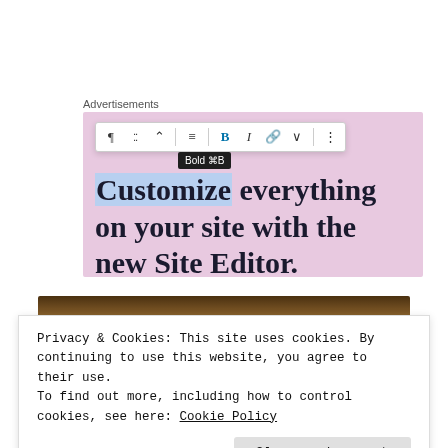Advertisements
[Figure (screenshot): WordPress block editor screenshot showing a toolbar with bold, italic, link and other formatting buttons, a tooltip reading 'Bold ⌘B', and large serif text on a pink/mauve background: 'Customize everything on your site with the new Site Editor.' where 'Customize' is highlighted in blue.]
[Figure (photo): Partial photo showing a wooden surface or furniture piece, cropped.]
Privacy & Cookies: This site uses cookies. By continuing to use this website, you agree to their use.
To find out more, including how to control cookies, see here: Cookie Policy
Close and accept